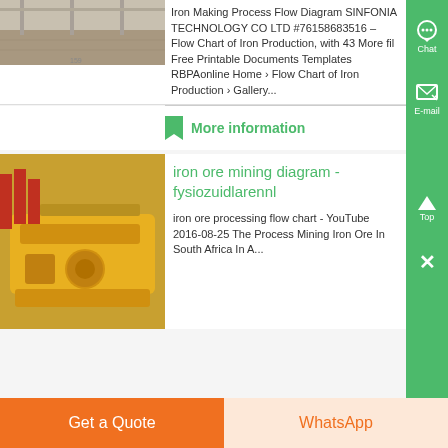[Figure (photo): Top image of an industrial warehouse/plant interior, gray flooring]
Iron Making Process Flow Diagram SINFONIA TECHNOLOGY CO LTD #76158683516 – Flow Chart of Iron Production, with 43 More fil Free Printable Documents Templates RBPAonline Home › Flow Chart of Iron Production › Gallery...
More information
[Figure (photo): Yellow industrial mining/ore processing equipment on a warehouse floor]
iron ore mining diagram - fysiozuidlarennl
iron ore processing flow chart - YouTube 2016-08-25 The Process Mining Iron Ore In South Africa In A...
Get a Quote
WhatsApp